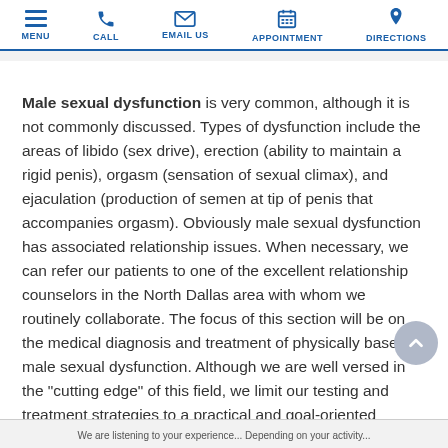MENU | CALL | EMAIL US | APPOINTMENT | DIRECTIONS
Male sexual dysfunction is very common, although it is not commonly discussed. Types of dysfunction include the areas of libido (sex drive), erection (ability to maintain a rigid penis), orgasm (sensation of sexual climax), and ejaculation (production of semen at tip of penis that accompanies orgasm). Obviously male sexual dysfunction has associated relationship issues. When necessary, we can refer our patients to one of the excellent relationship counselors in the North Dallas area with whom we routinely collaborate. The focus of this section will be on the medical diagnosis and treatment of physically based male sexual dysfunction. Although we are well versed in the "cutting edge" of this field, we limit our testing and treatment strategies to a practical and goal-oriented
We are listening to your experience...